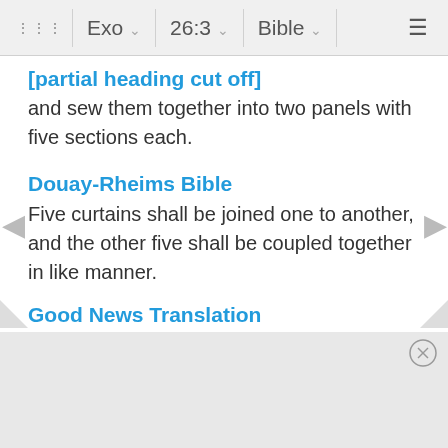⋮⋮⋮  Exo  ∨  26:3  ∨  Bible  ∨  ≡
and sew them together into two panels with five sections each.
Douay-Rheims Bible
Five curtains shall be joined one to another, and the other five shall be coupled together in like manner.
Good News Translation
Sew five of them together in one set, and do the same with the other five.
International Standard Version
"Five of the curtains are to be joined together, and the other five curtains are to be joined together.
JPS Tanakh 1917
Five c[urtains shall be coupled together one to] anoth[er; and the other five curtains shall be cou]pled one to[gether.]